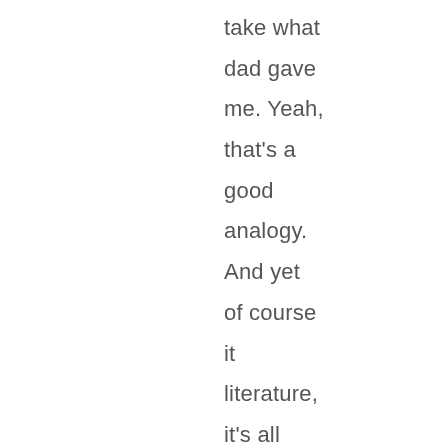take what dad gave me. Yeah, that's a good analogy. And yet of course it literature, it's all over literature, but it's a